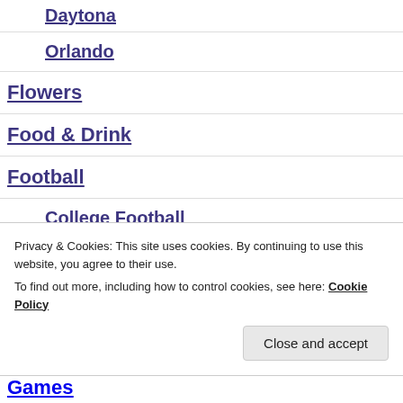Daytona
Orlando
Flowers
Food & Drink
Football
College Football
High School Football
Privacy & Cookies: This site uses cookies. By continuing to use this website, you agree to their use.
To find out more, including how to control cookies, see here: Cookie Policy
Games